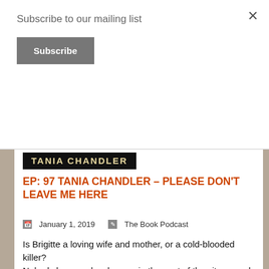Subscribe to our mailing list
[Figure (other): Subscribe button — dark grey rectangle with white bold text 'Subscribe']
[Figure (logo): TANIA CHANDLER logo — white/gold bold uppercase text on black background banner]
EP: 97 TANIA CHANDLER – PLEASE DON'T LEAVE ME HERE
January 1, 2019   The Book Podcast
Is Brigitte a loving wife and mother, or a cold-blooded killer?
Nobody knows why she was in the east of the city so early on the morning she was left for dead by a hit-and-run driver.  It was the Friday before Christmas 1994 – the same day police discovered